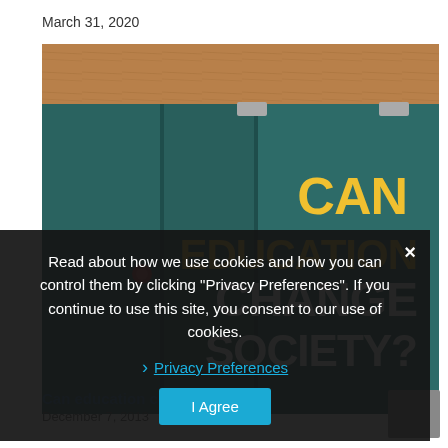March 31, 2020
[Figure (photo): Photo of a teal/dark green book titled 'CAN EDUCATION CHANGE SOCIETY?' resting on a wooden surface. The title text is displayed in large yellow and white letters on the book cover.]
Read about how we use cookies and how you can control them by clicking "Privacy Preferences". If you continue to use this site, you consent to our use of cookies.
Privacy Preferences
I Agree
Can education change society?
December 7, 2013